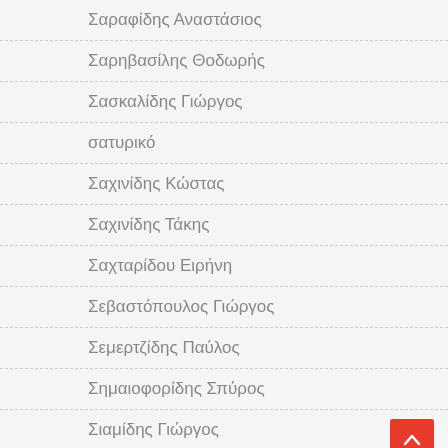Σαραφίδης Αναστάσιος
Σαρηβασίλης Θοδωρής
Σασκαλίδης Γιώργος
σατυρικό
Σαχινίδης Κώστας
Σαχινίδης Τάκης
Σαχταρίδου Ειρήνη
Σεβαστόπουλος Γιώργος
Σεμερτζίδης Παύλος
Σημαιοφορίδης Σπύρος
Σιαμίδης Γιώργος
Σιαμίδης Κώστας
Σιαμίδης Νίκος